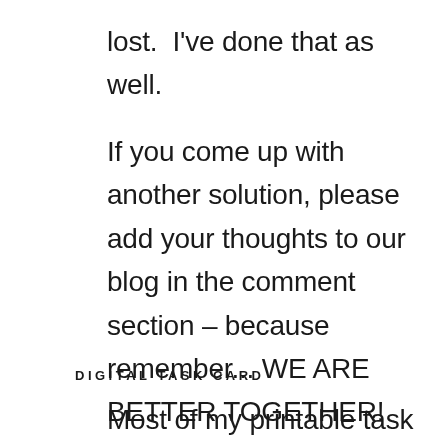lost.  I've done that as well.
If you come up with another solution, please add your thoughts to our blog in the comment section – because remember... WE ARE BETTER TOGETHER!
DIGITAL TASK CARD
Most of my printable task cards also